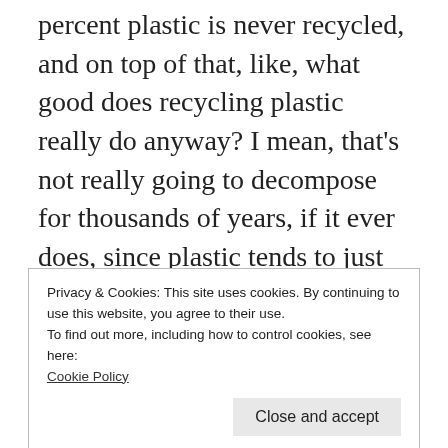percent plastic is never recycled, and on top of that, like, what good does recycling plastic really do anyway? I mean, that's not really going to decompose for thousands of years, if it ever does, since plastic tends to just break down into smaller particles. But that's just such a huge disconnect that we have—and a huge part of that is just that we have these systems in place that don't give us a lot of choices and what we can do with that. But that's a massive
Privacy & Cookies: This site uses cookies. By continuing to use this website, you agree to their use.
To find out more, including how to control cookies, see here:
Cookie Policy
live in Nashville, Tennessee—called Tennessee